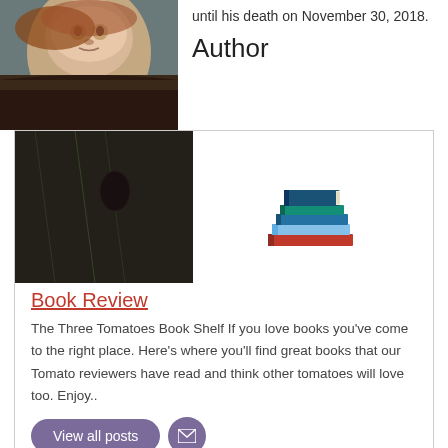until his death on November 30, 2018.
Author
[Figure (photo): Portrait photo of a woman with short reddish-brown hair wearing a dark patterned top, photographed against a gray background.]
[Figure (illustration): Stack of colorful books icon — a pile of books in dark green, blue, light blue, red, and other colors stacked on top of each other.]
Book Review
The Three Tomatoes Book Shelf If you love books you've come to the right place. Here's where you'll find great books that our Tomato reviewers have read and think other tomatoes will love too. Enjoy..
View all posts